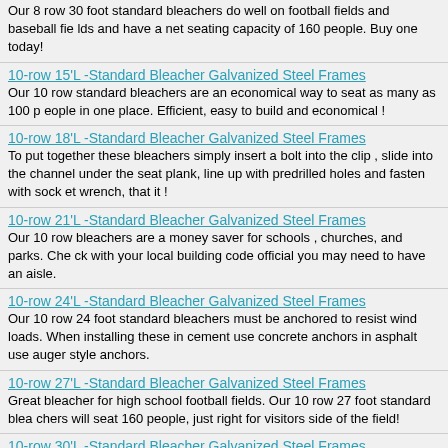Our 8 row 30 foot standard bleachers do well on football fields and baseball fields and have a net seating capacity of 160 people. Buy one today!
10-row 15'L -Standard Bleacher Galvanized Steel Frames
Our 10 row standard bleachers are an economical way to seat as many as 100 people in one place. Efficient, easy to build and economical !
10-row 18'L -Standard Bleacher Galvanized Steel Frames
To put together these bleachers simply insert a bolt into the clip , slide into the channel under the seat plank, line up with predrilled holes and fasten with socket wrench, that it !
10-row 21'L -Standard Bleacher Galvanized Steel Frames
Our 10 row bleachers are a money saver for schools , churches, and parks. Check with your local building code official you may need to have an aisle.
10-row 24'L -Standard Bleacher Galvanized Steel Frames
Our 10 row 24 foot standard bleachers must be anchored to resist wind loads. When installing these in cement use concrete anchors in asphalt use auger style anchors.
10-row 27'L -Standard Bleacher Galvanized Steel Frames
Great bleacher for high school football fields. Our 10 row 27 foot standard bleachers will seat 160 people, just right for visitors side of the field!
10-row 30'L -Standard Bleacher Galvanized Steel Frames
Our 10 row stadium bleachers will make you smile when you think of how much money you just saved , but when you sit in them you'll be glad you made the decision to do so.